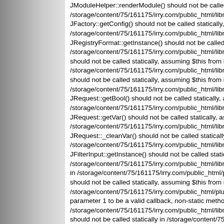JModuleHelper::renderModule() should not be called statically, ass... /storage/content/75/161175/irry.com/public_html/libraries/joomla/do... JFactory::getConfig() should not be called statically, assuming $this... /storage/content/75/161175/irry.com/public_html/libraries/joomla/ap... JRegistryFormat::getInstance() should not be called statically, assu... /storage/content/75/161175/irry.com/public_html/libraries/joomla/re... should not be called statically, assuming $this from incompatible co... /storage/content/75/161175/irry.com/public_html/libraries/joomla/re... should not be called statically, assuming $this from incompatible co... /storage/content/75/161175/irry.com/public_html/libraries/joomla/ap... JRequest::getBool() should not be called statically, assuming $this... /storage/content/75/161175/irry.com/public_html/libraries/joomla/ap... JRequest::getVar() should not be called statically, assuming $this f... /storage/content/75/161175/irry.com/public_html/libraries/joomla/en... JRequest::_cleanVar() should not be called statically, assuming $th... /storage/content/75/161175/irry.com/public_html/libraries/joomla/en... JFilterInput::getInstance() should not be called statically, assuming... /storage/content/75/161175/irry.com/public_html/libraries/joomla/en... in /storage/content/75/161175/irry.com/public_html/plugins/content... should not be called statically, assuming $this from incompatible co... /storage/content/75/161175/irry.com/public_html/plugins/content/co... parameter 1 to be a valid callback, non-static method JHtmlComme... /storage/content/75/161175/irry.com/public_html/libraries/joomla/ht... should not be called statically in /storage/content/75/161175/irry.co... Strict Standards: Non-static method JModuleHelper::getModule() s... /storage/content/75/161175/irry.com/public_html/components/com_... method JModuleHelper::_load() should not be called statically in...